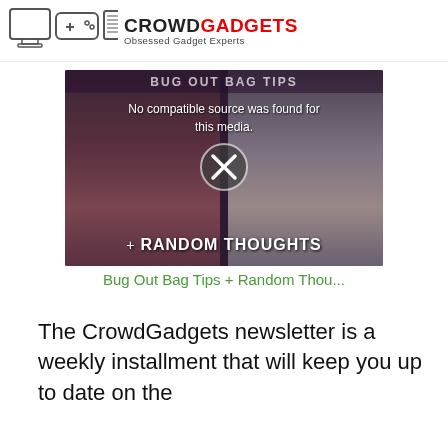[Figure (logo): CrowdGadgets logo with device icons and tagline 'Obsessed Gadget Experts']
[Figure (screenshot): Video player screenshot showing 'Bug Out Bag Tips + Random Thoughts' with two people, error message 'No compatible source was found for this media.' and X icon]
Bug Out Bag Tips + Random Thou...
The CrowdGadgets newsletter is a weekly installment that will keep you up to date on the